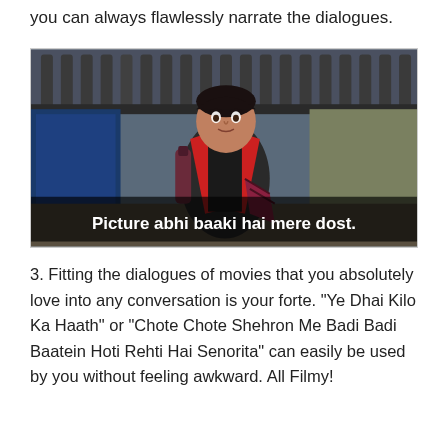you can always flawlessly narrate the dialogues.
[Figure (screenshot): Movie still of a man in a red vest holding a bottle, with white bold subtitle text reading 'Picture abhi baaki hai mere dost.']
3. Fitting the dialogues of movies that you absolutely love into any conversation is your forte. “Ye Dhai Kilo Ka Haath” or “Chote Chote Shehron Me Badi Badi Baatein Hoti Rehti Hai Senorita” can easily be used by you without feeling awkward. All Filmy!